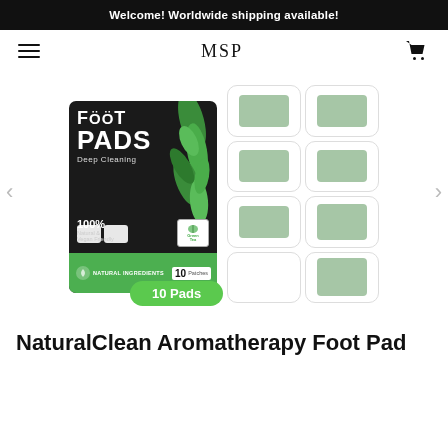Welcome! Worldwide shipping available!
[Figure (screenshot): E-commerce website navigation bar with hamburger menu on left, MSP logo in center, cart icon on right]
[Figure (photo): Product image showing Foot Pads Deep Cleaning package (black with green band, 100% Natural & Vegan Friendly, Green Tea, NATURAL INGREDIENTS, 10 Patches) on left, and 10 individual green foot pad patches on right. A green button labeled '10 Pads' is shown below.]
NaturalClean Aromatherapy Foot Pad